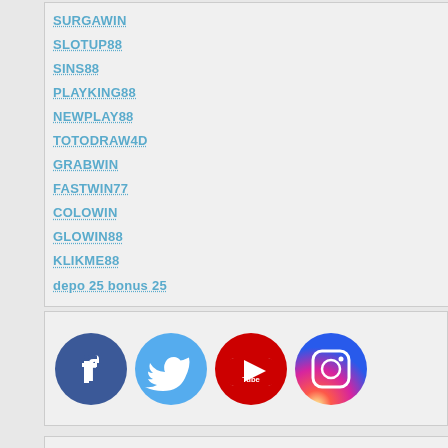SURGAWIN
SLOTUP88
SINS88
PLAYKING88
NEWPLAY88
TOTODRAW4D
GRABWIN
FASTWIN77
COLOWIN
GLOWIN88
KLIKME88
depo 25 bonus 25
[Figure (illustration): Social media icons: Facebook, Twitter, YouTube, Instagram]